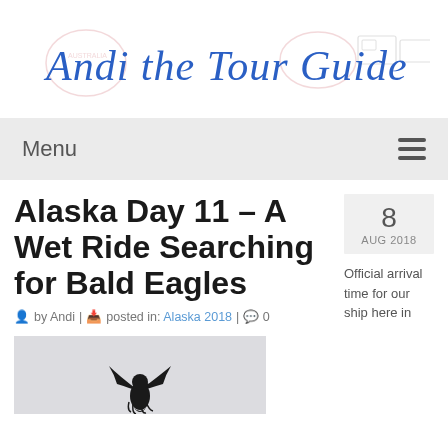[Figure (logo): Andi the Tour Guide logo with handwritten blue script text and passport stamp decorations]
Menu
Alaska Day 11 – A Wet Ride Searching for Bald Eagles
8 AUG 2018
by Andi | posted in: Alaska 2018 | 0
[Figure (photo): Bald eagle with wings spread, photographed from below against a pale sky]
Official arrival time for our ship here in